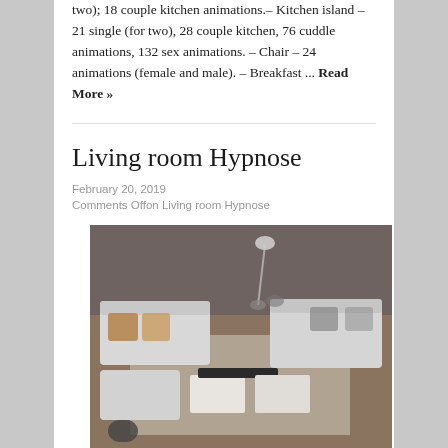two); 18 couple kitchen animations.– Kitchen island – 21 single (for two), 28 couple kitchen, 76 cuddle animations, 132 sex animations. – Chair – 24 animations (female and male). – Breakfast ... Read More »
Living room Hypnose
February 20, 2019
Comments Offon Living room Hypnose
[Figure (photo): Top-down view of a modern living room with white sectional sofa, brown cushions, a dark coffee table set, and a floor lamp. Wood flooring visible.]